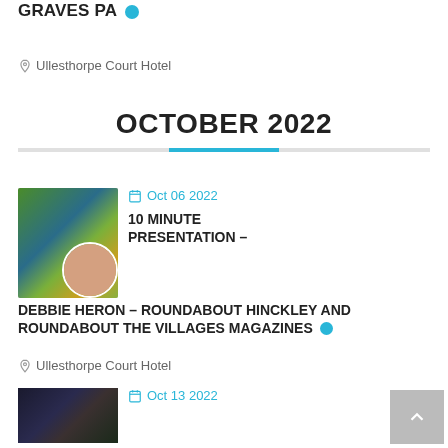GRAVES PA
Ullesthorpe Court Hotel
OCTOBER 2022
Oct 06 2022
10 MINUTE PRESENTATION – DEBBIE HERON – ROUNDABOUT HINCKLEY AND ROUNDABOUT THE VILLAGES MAGAZINES
Ullesthorpe Court Hotel
Oct 13 2022